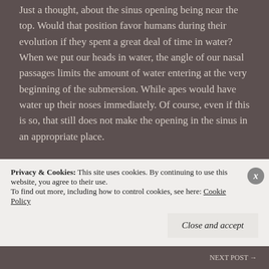Just a thought, about the sinus opening being near the top. Would that position favor humans during their evolution if they spent a great deal of time in water? When we put our heads in water, the angle of our nasal passages limits the amount of water entering at the very beginning of the submersion. While apes would have water up their noses immediately. Of course, even if this is so, that still does not make the opening in the sinus in an appropriate place.
As soon as I saw your title, I knew I wanted to read your book.
Thanks again
Privacy & Cookies: This site uses cookies. By continuing to use this website, you agree to their use. To find out more, including how to control cookies, see here: Cookie Policy
Close and accept